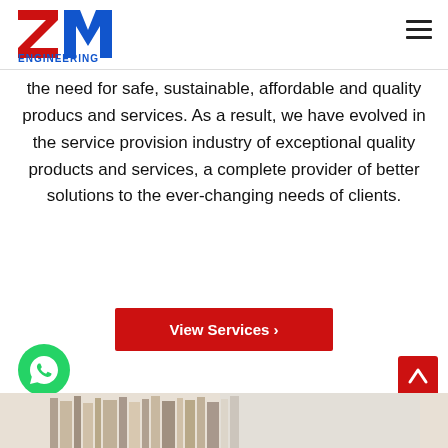[Figure (logo): ZM Engineering logo with red and blue letters ZM and blue text ENGINEERING below]
the need for safe, sustainable, affordable and quality producs and services. As a result, we have evolved in the service provision industry of exceptional quality products and services, a complete provider of better solutions to the ever-changing needs of clients.
View Services >
[Figure (photo): Partial view of industrial/engineering materials or books at the bottom of the page]